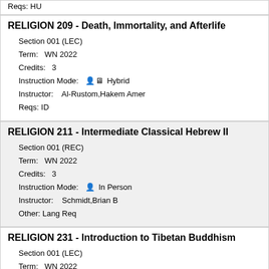Reqs: HU
RELIGION 209 - Death, Immortality, and Afterlife
Section 001 (LEC)
Term: WN 2022
Credits: 3
Instruction Mode: Hybrid
Instructor: Al-Rustom,Hakem Amer
Reqs: ID
RELIGION 211 - Intermediate Classical Hebrew II
Section 001 (REC)
Term: WN 2022
Credits: 3
Instruction Mode: In Person
Instructor: Schmidt,Brian B
Other: Lang Req
RELIGION 231 - Introduction to Tibetan Buddhism
Section 001 (LEC)
Term: WN 2022
Credits: 4
Instruction Mode: In Person
Instructor: Ujeed,Sangseraima
Reqs: HU